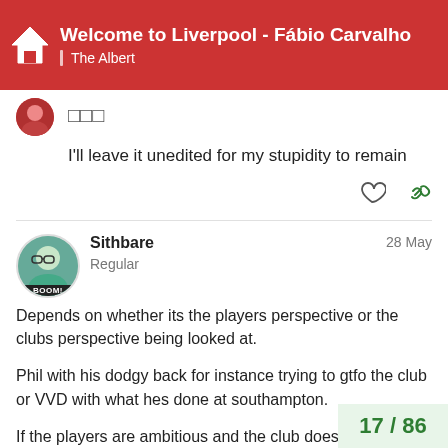Welcome to Liverpool - Fábio Carvalho | The Albert
🏠🏠🏠
I'll leave it unedited for my stupidity to remain
Sithbare · Regular · 28 May
Depends on whether its the players perspective or the clubs perspective being looked at.

Phil with his dodgy back for instance trying to gtfo the club or VVD with what hes done at southampton.

If the players are ambitious and the club doesnt seem to be matching their ambitions , they will a
17 / 86